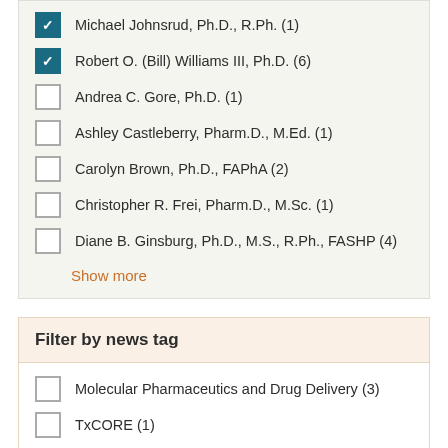Michael Johnsrud, Ph.D., R.Ph. (1)
Robert O. (Bill) Williams III, Ph.D. (6)
Andrea C. Gore, Ph.D. (1)
Ashley Castleberry, Pharm.D., M.Ed. (1)
Carolyn Brown, Ph.D., FAPhA (2)
Christopher R. Frei, Pharm.D., M.Sc. (1)
Diane B. Ginsburg, Ph.D., M.S., R.Ph., FASHP (4)
Show more
Filter by news tag
Molecular Pharmaceutics and Drug Delivery (3)
TxCORE (1)
Student Awards (1)